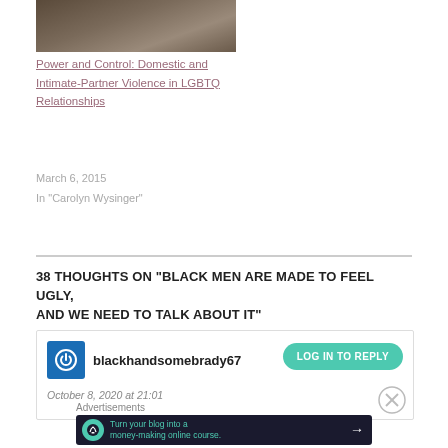[Figure (photo): A photo of a person, partially visible, cropped at top]
Power and Control: Domestic and Intimate-Partner Violence in LGBTQ Relationships
March 6, 2015
In "Carolyn Wysinger"
38 THOUGHTS ON “BLACK MEN ARE MADE TO FEEL UGLY, AND WE NEED TO TALK ABOUT IT”
blackhandsomebrady67
October 8, 2020 at 21:01
Advertisements
[Figure (infographic): Advertisement banner: Turn your blog into a money-making online course. Dark background with teal text and arrow.]